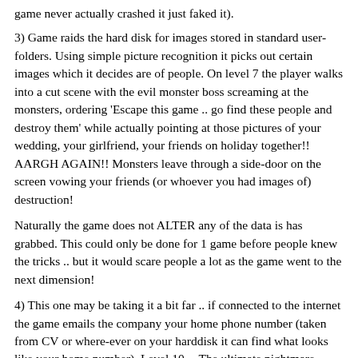game never actually crashed it just faked it).
3) Game raids the hard disk for images stored in standard user-folders. Using simple picture recognition it picks out certain images which it decides are of people. On level 7 the player walks into a cut scene with the evil monster boss screaming at the monsters, ordering 'Escape this game .. go find these people and destroy them' while actually pointing at those pictures of your wedding, your girlfriend, your friends on holiday together!! AARGH AGAIN!! Monsters leave through a side-door on the screen vowing your friends (or whoever you had images of) destruction!
Naturally the game does not ALTER any of the data is has grabbed. This could only be done for 1 game before people knew the tricks .. but it would scare people a lot as the game went to the next dimension!
4) This one may be taking it a bit far .. if connected to the internet the game emails the company your home phone number (taken from CV or where-ever on your harddisk it can find what looks like your home number). Level 10 -- The ultimate nightmare. Enter the lair of the diaboloical demon .. electricity flying out from huge .. spikes .. screaming as he writhes around on some infernal machine .. 'I'm going to get free of this game .. it's too late for you